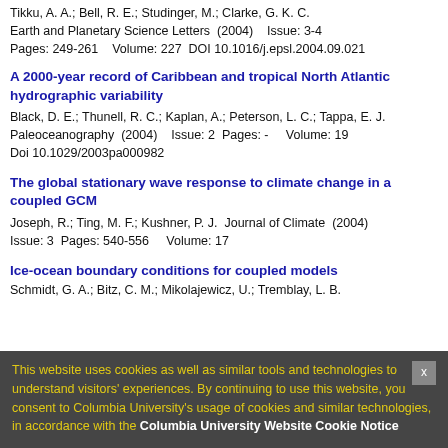Tikku, A. A.; Bell, R. E.; Studinger, M.; Clarke, G. K. C.
Earth and Planetary Science Letters (2004) Issue: 3-4
Pages: 249-261 Volume: 227 DOI 10.1016/j.epsl.2004.09.021
A 2000-year record of Caribbean and tropical North Atlantic hydrographic variability
Black, D. E.; Thunell, R. C.; Kaplan, A.; Peterson, L. C.; Tappa, E. J.
Paleoceanography (2004) Issue: 2 Pages: - Volume: 19
Doi 10.1029/2003pa000982
The global stationary wave response to climate change in a coupled GCM
Joseph, R.; Ting, M. F.; Kushner, P. J. Journal of Climate (2004)
Issue: 3 Pages: 540-556 Volume: 17
Ice-ocean boundary conditions for coupled models
Schmidt, G. A.; Bitz, C. M.; Mikolajewicz, U.; Tremblay, L. B.
This website uses cookies as well as similar tools and technologies to understand visitors' experiences. By continuing to use this website, you consent to Columbia University's usage of cookies and similar technologies, in accordance with the Columbia University Website Cookie Notice